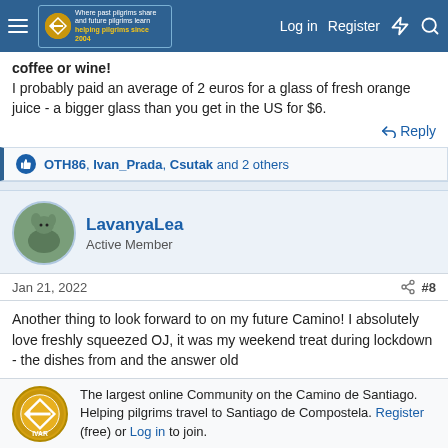Navigation bar with logo, Log in, Register links
coffee or wine!
I probably paid an average of 2 euros for a glass of fresh orange juice - a bigger glass than you get in the US for $6.
Reply
OTH86, Ivan_Prada, Csutak and 2 others
LavanyaLea
Active Member
Jan 21, 2022
#8
Another thing to look forward to on my future Camino! I absolutely love freshly squeezed OJ, it was my weekend treat during lockdown - the dishes from and the answer old
The largest online Community on the Camino de Santiago. Helping pilgrims travel to Santiago de Compostela. Register (free) or Log in to join.